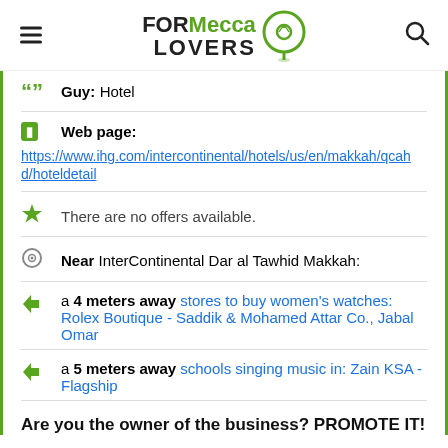FORMecca LOVERS
Guy: Hotel
Web page:
https://www.ihg.com/intercontinental/hotels/us/en/makkah/qcahd/hoteldetail
There are no offers available.
Near InterContinental Dar al Tawhid Makkah:
a 4 meters away stores to buy women's watches: Rolex Boutique - Saddik & Mohamed Attar Co., Jabal Omar
a 5 meters away schools singing music in: Zain KSA - Flagship
Are you the owner of the business? PROMOTE IT!